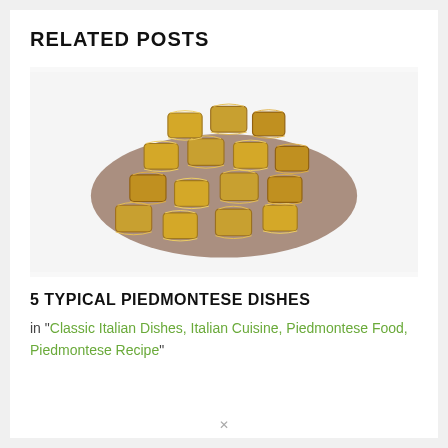RELATED POSTS
[Figure (photo): A pile of golden-yellow agnolotti or ravioli pasta with ruffled edges on a white background, photographed from above.]
5 TYPICAL PIEDMONTESE DISHES
in "Classic Italian Dishes, Italian Cuisine, Piedmontese Food, Piedmontese Recipe"